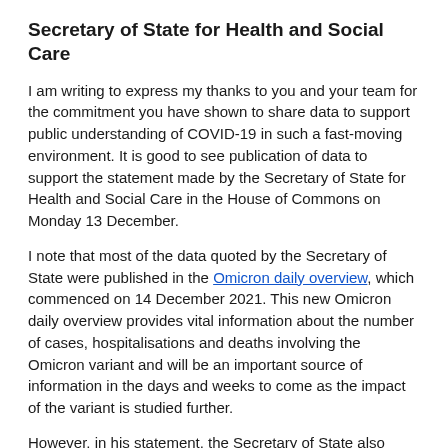Secretary of State for Health and Social Care
I am writing to express my thanks to you and your team for the commitment you have shown to share data to support public understanding of COVID-19 in such a fast-moving environment. It is good to see publication of data to support the statement made by the Secretary of State for Health and Social Care in the House of Commons on Monday 13 December.
I note that most of the data quoted by the Secretary of State were published in the Omicron daily overview, which commenced on 14 December 2021. This new Omicron daily overview provides vital information about the number of cases, hospitalisations and deaths involving the Omicron variant and will be an important source of information in the days and weeks to come as the impact of the variant is studied further.
However, in his statement, the Secretary of State also mentioned an estimate of the daily number of